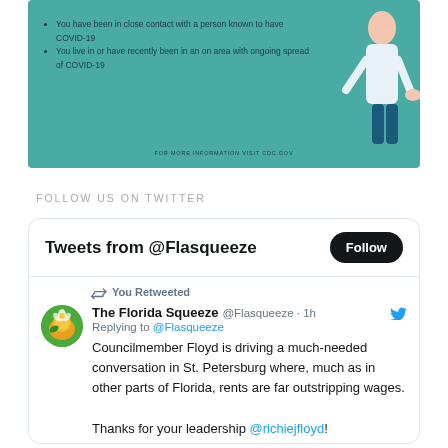[Figure (infographic): Teal/green COVID-19 information banner with bullet points about close contact and ongoing spread, with an illustrated figure on the right and CDC.gov URL at the bottom.]
FOLLOW US ON TWITTER
[Figure (screenshot): Twitter widget showing 'Tweets from @Flasqueeze' with a Follow button, a retweet by The Florida Squeeze (@Flasqueeze) 1h ago, replying to @Flasqueeze: 'Councilmember Floyd is driving a much-needed conversation in St. Petersburg where, much as in other parts of Florida, rents are far outstripping wages. Thanks for your leadership @richiejfloyd!']